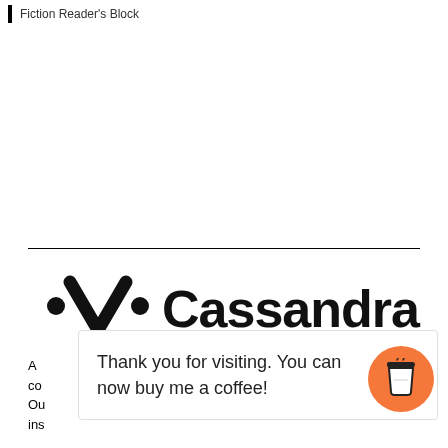Fiction Reader's Block
[Figure (logo): Cassandra Voices logo with stylized V icon and wordmark]
A ... ished by co... oectr... Ou... ices... ins...
Thank you for visiting. You can now buy me a coffee!